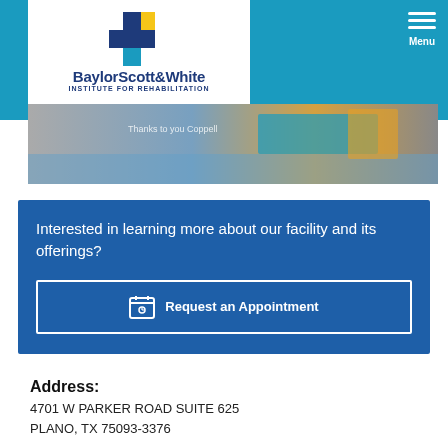[Figure (logo): Baylor Scott & White Institute for Rehabilitation logo — white box with blue/yellow cross icon and text]
[Figure (photo): Building exterior photo strip showing a facility with blue and yellow signage]
Interested in learning more about our facility and its offerings?
Request an Appointment
Address:
4701 W PARKER ROAD SUITE 625
PLANO, TX 75093-3376